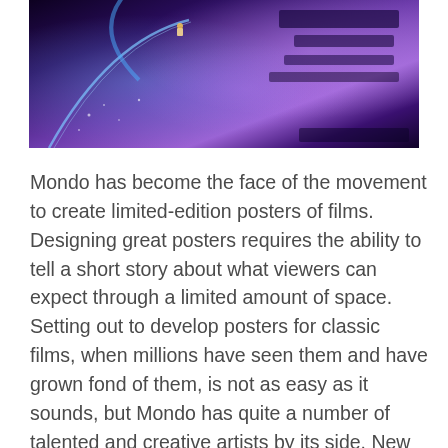[Figure (photo): A dark, purple-toned science fiction scene — likely a WALL-E movie poster — showing a robot figure against a dark space background with blue arc light and glowing purple/violet hues suggesting a futuristic or outer-space setting.]
Mondo has become the face of the movement to create limited-edition posters of films. Designing great posters requires the ability to tell a short story about what viewers can expect through a limited amount of space. Setting out to develop posters for classic films, when millions have seen them and have grown fond of them, is not as easy as it sounds, but Mondo has quite a number of talented and creative artists by its side. New limited-edition Pixar posters are coming soon, including for WALL-E and Up. Take a peek at